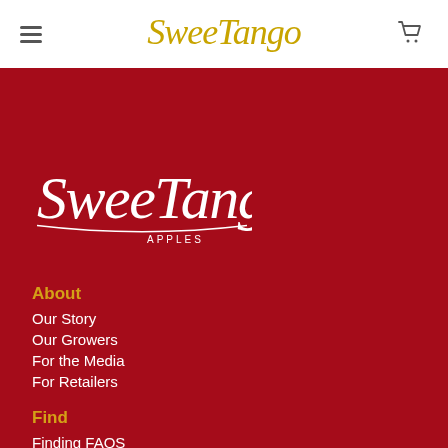SweeTango
[Figure (logo): SweeTango Apples logo in white on dark red background]
About
Our Story
Our Growers
For the Media
For Retailers
Find
Finding FAQS
Recipes